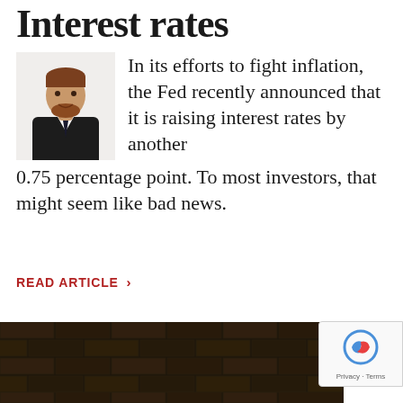Interest rates
[Figure (photo): Headshot of a man in a dark suit and tie, with short reddish-brown hair and a beard, smiling slightly against a white background.]
In its efforts to fight inflation, the Fed recently announced that it is raising interest rates by another 0.75 percentage point. To most investors, that might seem like bad news.
READ ARTICLE >
[Figure (photo): Bottom portion of page showing a dark brick wall interior scene, partially visible.]